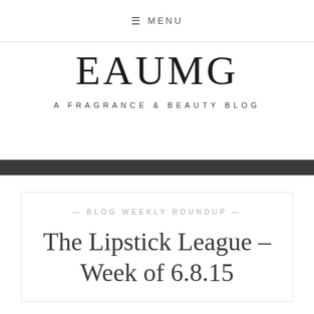≡ MENU
EAUMG
A FRAGRANCE & BEAUTY BLOG
— BLOG WEEKLY ROUNDUP —
The Lipstick League – Week of 6.8.15